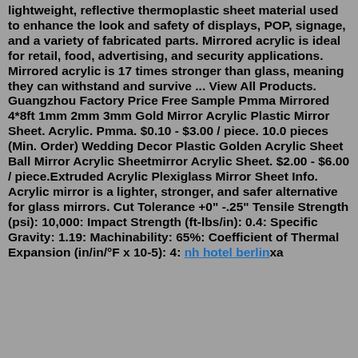lightweight, reflective thermoplastic sheet material used to enhance the look and safety of displays, POP, signage, and a variety of fabricated parts. Mirrored acrylic is ideal for retail, food, advertising, and security applications. Mirrored acrylic is 17 times stronger than glass, meaning they can withstand and survive ... View All Products. Guangzhou Factory Price Free Sample Pmma Mirrored 4*8ft 1mm 2mm 3mm Gold Mirror Acrylic Plastic Mirror Sheet. Acrylic. Pmma. $0.10 - $3.00 / piece. 10.0 pieces (Min. Order) Wedding Decor Plastic Golden Acrylic Sheet Ball Mirror Acrylic Sheetmirror Acrylic Sheet. $2.00 - $6.00 / piece.Extruded Acrylic Plexiglass Mirror Sheet Info. Acrylic mirror is a lighter, stronger, and safer alternative for glass mirrors. Cut Tolerance +0" -.25" Tensile Strength (psi): 10,000: Impact Strength (ft-lbs/in): 0.4: Specific Gravity: 1.19: Machinability: 65%: Coefficient of Thermal Expansion (in/in/°F x 10-5): 4: nh hotel berlinxa